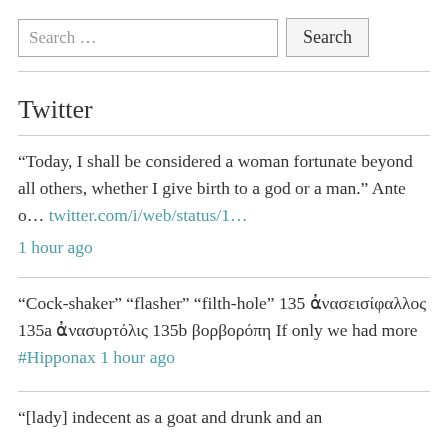[Figure (screenshot): Search input box with placeholder 'Search …' and a Search button]
Twitter
“Today, I shall be considered a woman fortunate beyond all others, whether I give birth to a god or a man.” Ante o… twitter.com/i/web/status/1…
1 hour ago
"Cock-shaker" "flasher" "filth-hole" 135 ἀνασεισίφαλλος 135a ἀνασυρτόλις 135b βορβορόπη If only we had more #Hipponax 1 hour ago
"[lady] indecent as a goat and drunk and an